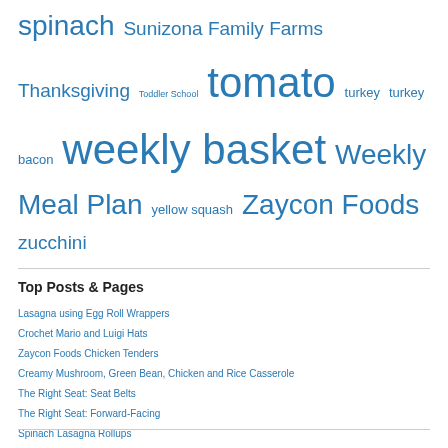spinach Sunizona Family Farms Thanksgiving Toddler School tomato turkey turkey bacon weekly basket Weekly Meal Plan yellow squash Zaycon Foods zucchini
Top Posts & Pages
Lasagna using Egg Roll Wrappers
Crochet Mario and Luigi Hats
Zaycon Foods Chicken Tenders
Creamy Mushroom, Green Bean, Chicken and Rice Casserole
The Right Seat: Seat Belts
The Right Seat: Forward-Facing
Spinach Lasagna Rollups
Remember to Thaw Your Frozen Turkey!
4X Fuel Points at Fry's Food
Bountiful Baskets - 11/19/2011